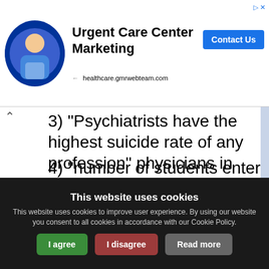[Figure (screenshot): Ad banner for Urgent Care Center Marketing featuring a person in medical attire, with a Contact Us button and healthcare.gmrwebteam.com URL]
3) "Psychiatrists have the highest suicide rate of any profession" physicians in general, not psychiatrists specifically, have the highest suicide rate per profession. but you know what population has an even higher suicide rate? untreated mentally ill males.
4) "number of students entering...
This website uses cookies
This website uses cookies to improve user experience. By using our website you consent to all cookies in accordance with our Cookie Policy.